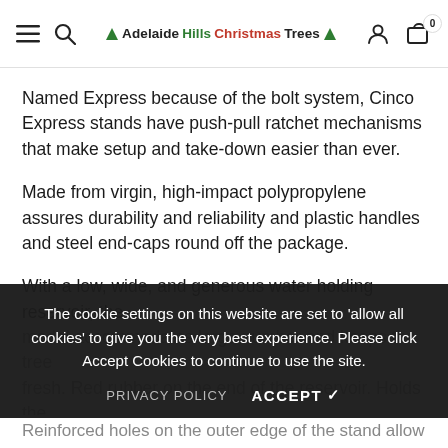Adelaide Hills Christmas Trees — navigation bar with hamburger menu, search, logo, user icon, cart (0)
Named Express because of the bolt system, Cinco Express stands have push-pull ratchet mechanisms that make setup and take-down easier than ever.
Made from virgin, high-impact polypropylene assures durability and reliability and plastic handles and steel end-caps round off the package.
With a low, wide, and generous water holding reservoir, the model accommodates large number and keeps the tree fresh. Red rubber on the end of the reservoir. Holds the tree safely, wont shift, and makes sure the tree...
The cookie settings on this website are set to 'allow all cookies' to give you the very best experience. Please click Accept Cookies to continue to use the site.
PRIVACY POLICY    ACCEPT ✓
Reinforced holes on the outer edge of the stand allow